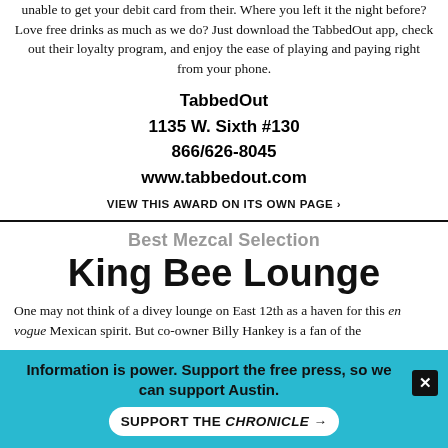unable to get your debit card from their. Where you left it the night before? Love free drinks as much as we do? Just download the TabbedOut app, check out their loyalty program, and enjoy the ease of playing and paying right from your phone.
TabbedOut
1135 W. Sixth #130
866/626-8045
www.tabbedout.com
VIEW THIS AWARD ON ITS OWN PAGE ›
Best Mezcal Selection
King Bee Lounge
One may not think of a divey lounge on East 12th as a haven for this en vogue Mexican spirit. But co-owner Billy Hankey is a fan of the
Information is power. Support the free press, so we can support Austin.
SUPPORT THE CHRONICLE →